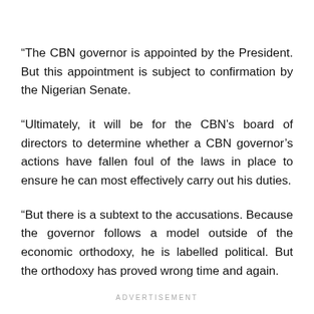“The CBN governor is appointed by the President. But this appointment is subject to confirmation by the Nigerian Senate.
“Ultimately, it will be for the CBN’s board of directors to determine whether a CBN governor’s actions have fallen foul of the laws in place to ensure he can most effectively carry out his duties.
“But there is a subtext to the accusations. Because the governor follows a model outside of the economic orthodoxy, he is labelled political. But the orthodoxy has proved wrong time and again.
ADVERTISEMENT